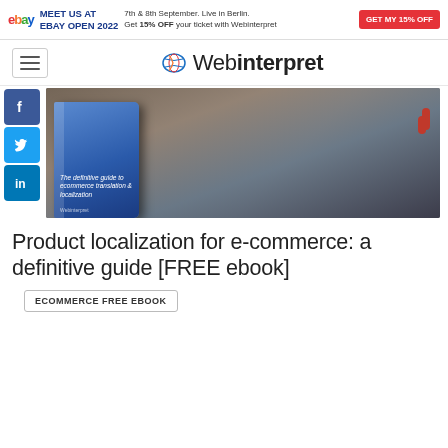[Figure (infographic): eBay promotional banner: eBay logo, 'MEET US AT EBAY OPEN 2022', '7th & 8th September. Live in Berlin. Get 15% OFF your ticket with Webinterpret', red button 'GET MY 15% OFF']
[Figure (logo): Webinterpret logo with globe icon and text 'Webinterpret']
[Figure (photo): Book titled 'The definitive guide to ecommerce translation & localization' by Webinterpret on a dark surface with red earbuds]
Product localization for e-commerce: a definitive guide [FREE ebook]
ECOMMERCE FREE EBOOK